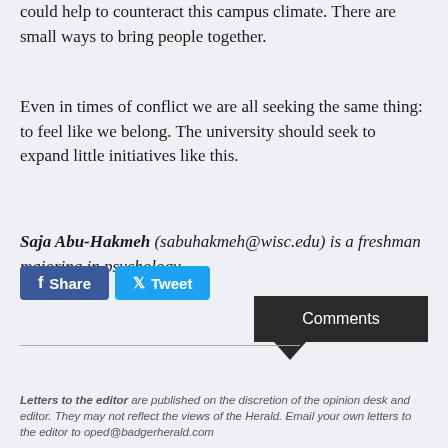could help to counteract this campus climate. There are small ways to bring people together.
Even in times of conflict we are all seeking the same thing: to feel like we belong. The university should seek to expand little initiatives like this.
Saja Abu-Hakmeh (sabuhakmeh@wisc.edu) is a freshman majoring in psychology.
Share
Tweet
Comments
Letters to the editor are published on the discretion of the opinion desk and editor. They may not reflect the views of the Herald. Email your own letters to the editor to oped@badgerherald.com